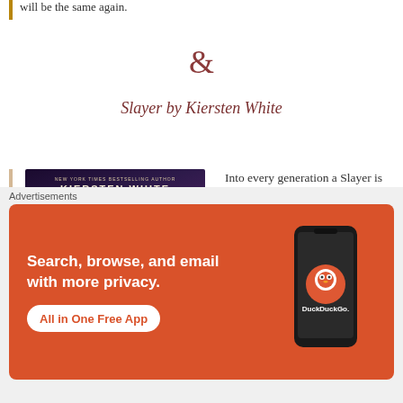will be the same again.
&
Slayer by Kiersten White
[Figure (illustration): Book cover of 'Slayer' by Kiersten White (New York Times Bestselling Author). Dark purple/blue atmospheric cover showing a woman with long red hair from behind, surrounded by a glowing light.]
Into every generation a Slayer is born…

Nina and her twin sister, Artemis, are far from normal. It's har
Advertisements
[Figure (screenshot): DuckDuckGo advertisement banner on orange/red background. Text reads 'Search, browse, and email with more privacy. All in One Free App.' Shows a smartphone with DuckDuckGo logo and app name.]